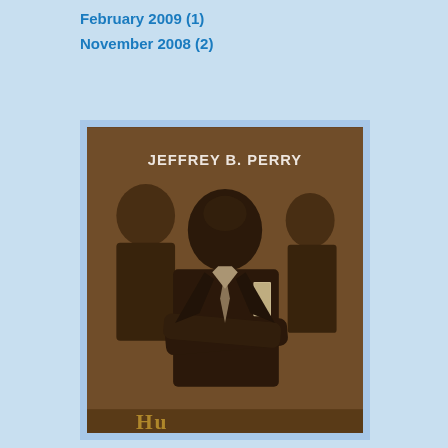February 2009 (1)
November 2008 (2)
[Figure (photo): Book cover of a biography by Jeffrey B. Perry, showing a sepia-toned historical photograph of a man with arms crossed, surrounded by other people. The author name 'JEFFREY B. PERRY' appears in white text at the top.]